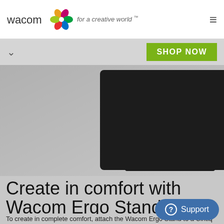wacom for a creative world™
[Figure (screenshot): Navigation strip with chevron down icon on left and green SHOP NOW button on right]
[Figure (photo): Wacom Ergo Stand product photo showing the back of a tablet display mounted on an adjustable gray metal stand with a black base, on a gray background]
Create in comfort with Wacom Ergo Stand
To create in complete comfort, attach the Wacom Ergo Stand to a Cintiq Pro 24 or 32. It allows you to...